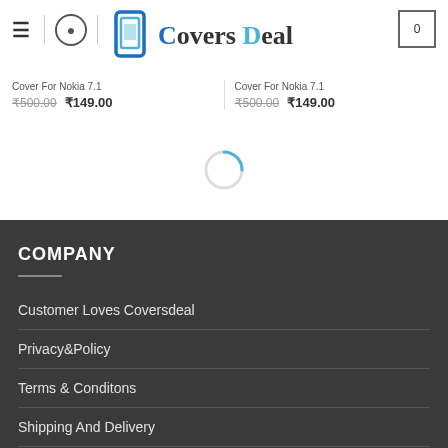[Figure (logo): Covers Deal website header with hamburger menu, search icon, Covers Deal logo, and cart icon showing 0]
Cover For Nokia 7.1  ₹500.00  ₹149.00  |  Cover For Nokia 7.1  ₹500.00  ₹149.00
[Figure (other): Loading spinner circle]
COMPANY
Customer Loves Coversdeal
Privacy&Policy
Terms & Conditons
Shipping And Delivery